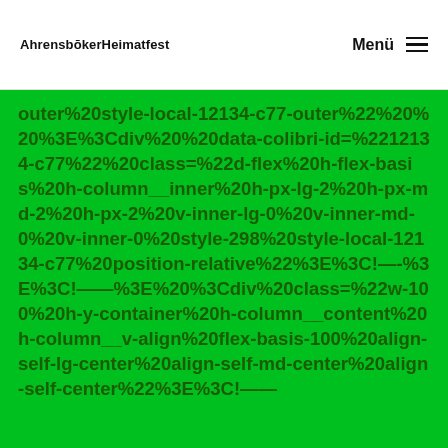AhrensbōkerHeimatfest   Menü ≡
outer%20style-local-12134-c77-outer%22%20%20%3E%3Cdiv%20%20data-colibri-id=%2212134-c77%22%20class=%22d-flex%20h-flex-basis%20h-column__inner%20h-px-lg-2%20h-px-md-2%20h-px-2%20v-inner-lg-0%20v-inner-md-0%20v-inner-0%20style-298%20style-local-12134-c77%20position-relative%22%3E%3C!—-%3E%3C!——%3E%20%3Cdiv%20class=%22w-100%20h-y-container%20h-column__content%20h-column__v-align%20flex-basis-100%20align-self-lg-center%20align-self-md-center%20align-self-center%22%3E%3C!——